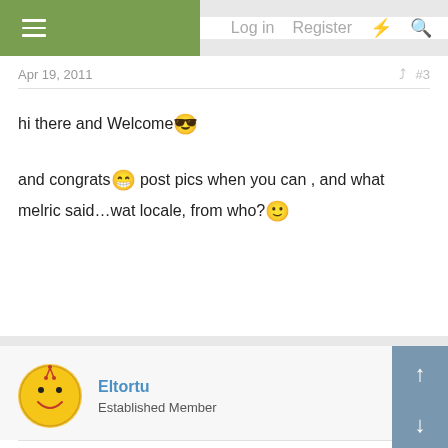Log in   Register
Apr 19, 2011   #3
hi there and Welcome😎

and congrats😁 post pics when you can , and what melric said…wat locale, from who?🙂
Eltortu
Established Member
Apr 19, 2011   #4
Hi, moving back to Arizona? Is it your choice or had to? Just curious...